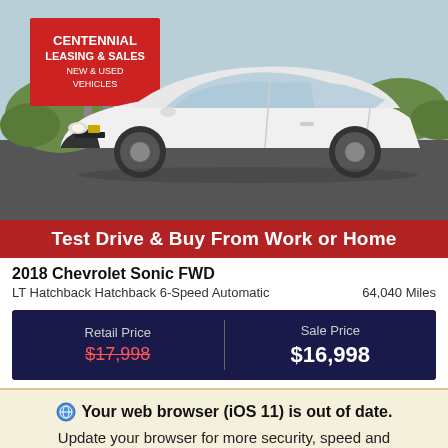[Figure (photo): White 2018 Chevrolet Sonic hatchback parked in front of a Centennial Leasing & Sales dealership sign in a sunny outdoor lot.]
Test Drive & Buy From Work or Home
2018 Chevrolet Sonic FWD
LT Hatchback Hatchback 6-Speed Automatic    64,040 Miles
| Retail Price | Sale Price |
| --- | --- |
| $17,998 | $16,998 |
Your web browser (iOS 11) is out of date.
Update your browser for more security, speed and the best experience on this site.
Update browser   Ignore